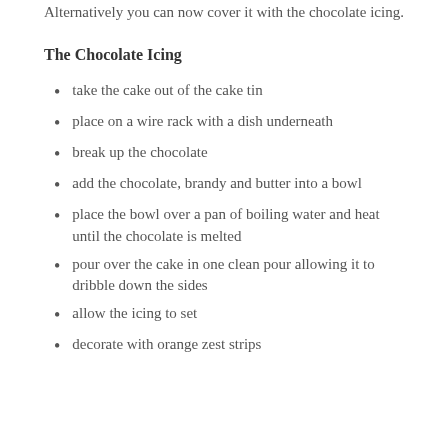Alternatively you can now cover it with the chocolate icing.
The Chocolate Icing
take the cake out of the cake tin
place on a wire rack with a dish underneath
break up the chocolate
add the chocolate, brandy and butter into a bowl
place the bowl over a pan of boiling water and heat until the chocolate is melted
pour over the cake in one clean pour allowing it to dribble down the sides
allow the icing to set
decorate with orange zest strips